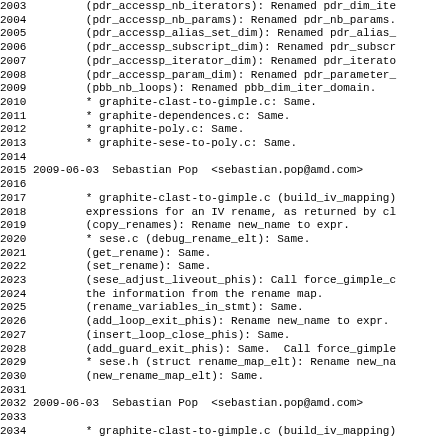2003         (pdr_accessp_nb_iterators): Renamed pdr_dim_ite
2004         (pdr_accessp_nb_params): Renamed pdr_nb_params.
2005         (pdr_accessp_alias_set_dim): Renamed pdr_alias_
2006         (pdr_accessp_subscript_dim): Renamed pdr_subscr
2007         (pdr_accessp_iterator_dim): Renamed pdr_iterato
2008         (pdr_accessp_param_dim): Renamed pdr_parameter_
2009         (pbb_nb_loops): Renamed pbb_dim_iter_domain.
2010         * graphite-clast-to-gimple.c: Same.
2011         * graphite-dependences.c: Same.
2012         * graphite-poly.c: Same.
2013         * graphite-sese-to-poly.c: Same.
2014
2015 2009-06-03  Sebastian Pop  <sebastian.pop@amd.com>
2016
2017         * graphite-clast-to-gimple.c (build_iv_mapping)
2018         expressions for an IV rename, as returned by cl
2019         (copy_renames): Rename new_name to expr.
2020         * sese.c (debug_rename_elt): Same.
2021         (get_rename): Same.
2022         (set_rename): Same.
2023         (sese_adjust_liveout_phis): Call force_gimple_c
2024         the information from the rename map.
2025         (rename_variables_in_stmt): Same.
2026         (add_loop_exit_phis): Rename new_name to expr.
2027         (insert_loop_close_phis): Same.
2028         (add_guard_exit_phis): Same.  Call force_gimple
2029         * sese.h (struct rename_map_elt): Rename new_na
2030         (new_rename_map_elt): Same.
2031
2032 2009-06-03  Sebastian Pop  <sebastian.pop@amd.com>
2033
2034         * graphite-clast-to-gimple.c (build_iv_mapping)